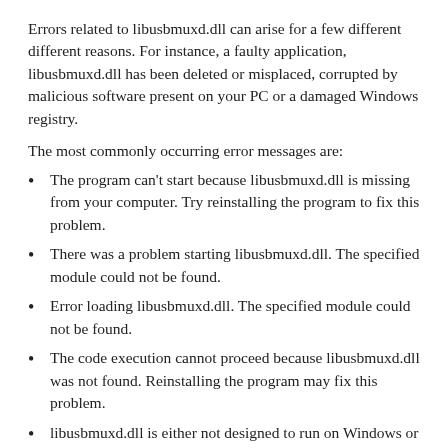Errors related to libusbmuxd.dll can arise for a few different different reasons. For instance, a faulty application, libusbmuxd.dll has been deleted or misplaced, corrupted by malicious software present on your PC or a damaged Windows registry.
The most commonly occurring error messages are:
The program can't start because libusbmuxd.dll is missing from your computer. Try reinstalling the program to fix this problem.
There was a problem starting libusbmuxd.dll. The specified module could not be found.
Error loading libusbmuxd.dll. The specified module could not be found.
The code execution cannot proceed because libusbmuxd.dll was not found. Reinstalling the program may fix this problem.
libusbmuxd.dll is either not designed to run on Windows or it contains an error. Try installing the program again using the original installation media or contact your system administrator or the software